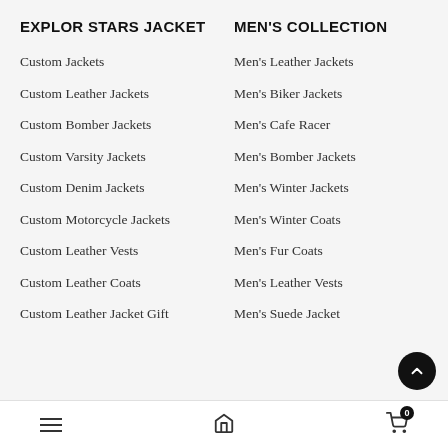EXPLOR STARS JACKET
MEN'S COLLECTION
Custom Jackets
Men's Leather Jackets
Custom Leather Jackets
Men's Biker Jackets
Custom Bomber Jackets
Men's Cafe Racer
Custom Varsity Jackets
Men's Bomber Jackets
Custom Denim Jackets
Men's Winter Jackets
Custom Motorcycle Jackets
Men's Winter Coats
Custom Leather Vests
Men's Fur Coats
Custom Leather Coats
Men's Leather Vests
Custom Leather Jacket Gift
Men's Suede Jacket
≡  🏠  🛒 0